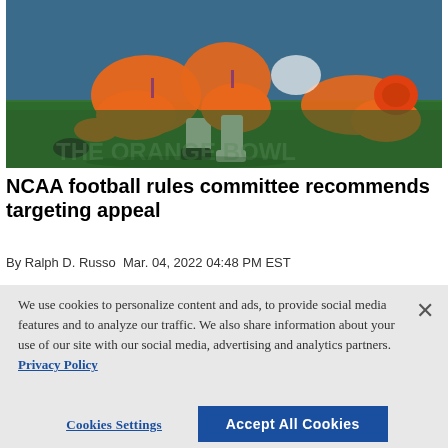[Figure (photo): Football players in orange uniforms (Clemson) in a tackle/scrum on a grass field during a college football game]
NCAA football rules committee recommends targeting appeal
By Ralph D. Russo Mar. 04, 2022 04:48 PM EST
We use cookies to personalize content and ads, to provide social media features and to analyze our traffic. We also share information about your use of our site with our social media, advertising and analytics partners. Privacy Policy
Cookies Settings
Accept All Cookies